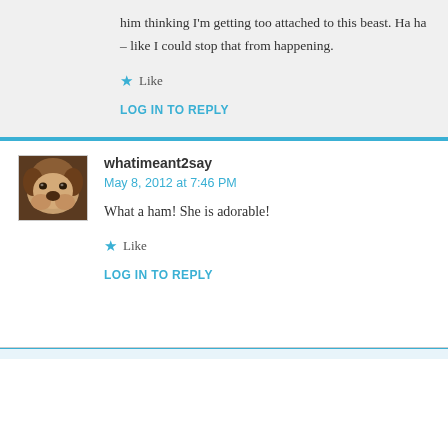him thinking I'm getting too attached to this beast. Ha ha – like I could stop that from happening.
Like
LOG IN TO REPLY
whatimeant2say
May 8, 2012 at 7:46 PM
[Figure (photo): Avatar photo of a bulldog puppy, brown and white, with a droopy face.]
What a ham! She is adorable!
Like
LOG IN TO REPLY